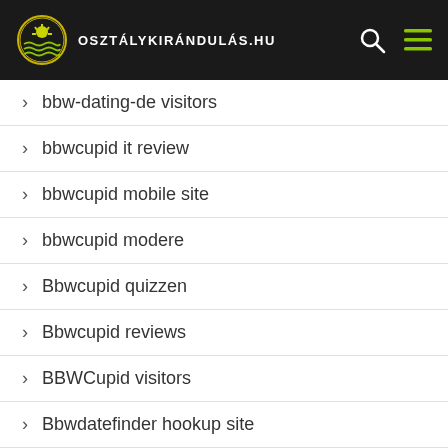osztálykirándulás.hu
bbw-dating-de visitors
bbwcupid it review
bbwcupid mobile site
bbwcupid modere
Bbwcupid quizzen
Bbwcupid reviews
BBWCupid visitors
Bbwdatefinder hookup site
BBWDateFinder visitors
BBWDesire review